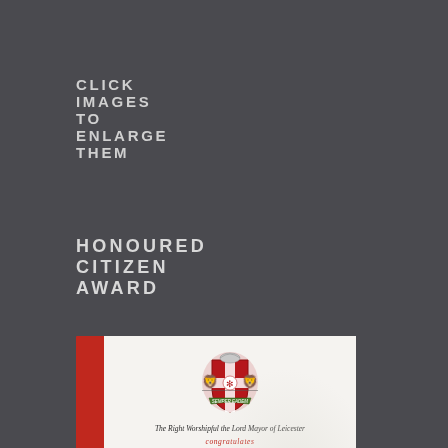CLICK IMAGES TO ENLARGE THEM
HONOURED CITIZEN AWARD
[Figure (photo): A photograph of an official Leicester Lord Mayor Honoured Citizen Award certificate. The certificate features a red binding strip on the left, the Leicester City coat of arms at the top, and italic text reading: 'The Right Worshipful the Lord Mayor of Leicester congratulates South Highfields Neighbours on being awarded the Honoured Citizen Award', followed by a signature and date.]